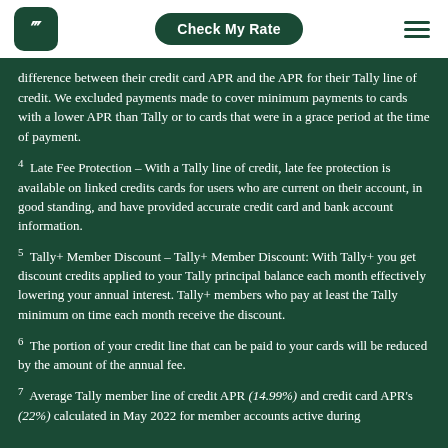Tally logo | Check My Rate | Menu
difference between their credit card APR and the APR for their Tally line of credit. We excluded payments made to cover minimum payments to cards with a lower APR than Tally or to cards that were in a grace period at the time of payment.
4  Late Fee Protection – With a Tally line of credit, late fee protection is available on linked credits cards for users who are current on their account, in good standing, and have provided accurate credit card and bank account information.
5  Tally+ Member Discount – Tally+ Member Discount: With Tally+ you get discount credits applied to your Tally principal balance each month effectively lowering your annual interest. Tally+ members who pay at least the Tally minimum on time each month receive the discount.
6  The portion of your credit line that can be paid to your cards will be reduced by the amount of the annual fee.
7  Average Tally member line of credit APR (14.99%) and credit card APR's (22%) calculated in May 2022 for member accounts active during